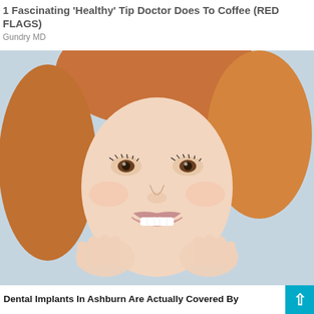1 Fascinating 'Healthy' Tip Doctor Does To Coffee (RED FLAGS)
Gundry MD
[Figure (photo): Close-up photo of a smiling woman with auburn/red hair, holding her hands up near her jaw, with a bright white smile and light blue background]
Dental Implants In Ashburn Are Actually Covered By